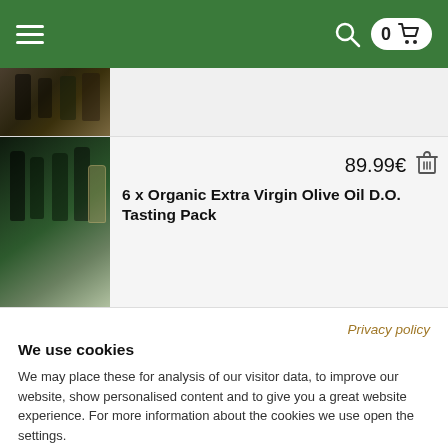Navigation header with hamburger menu, search icon, cart with 0 items
[Figure (photo): Top product row image - dark bottles of olive oil]
[Figure (photo): Main product image - 6 dark bottles of organic extra virgin olive oil]
6 x Organic Extra Virgin Olive Oil D.O. Tasting Pack
89.99€
Privacy policy
We use cookies
We may place these for analysis of our visitor data, to improve our website, show personalised content and to give you a great website experience. For more information about the cookies we use open the settings.
Accept all
Deny
Adjust settings